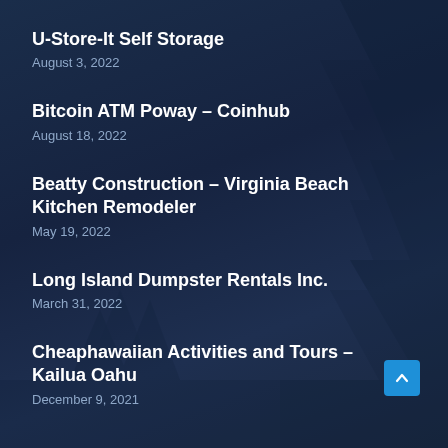U-Store-It Self Storage
August 3, 2022
Bitcoin ATM Poway – Coinhub
August 18, 2022
Beatty Construction – Virginia Beach Kitchen Remodeler
May 19, 2022
Long Island Dumpster Rentals Inc.
March 31, 2022
Cheaphawaiian Activities and Tours – Kailua Oahu
December 9, 2021